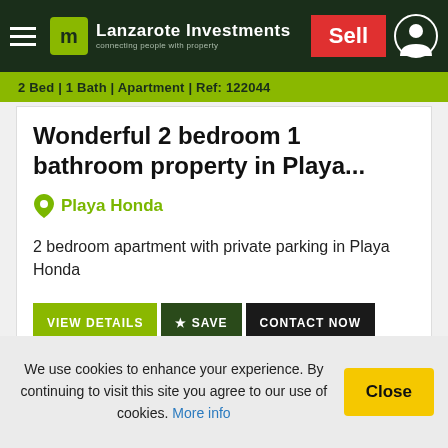Lanzarote Investments — connecting people with property | Sell
2 Bed | 1 Bath | Apartment | Ref: 122044
Wonderful 2 bedroom 1 bathroom property in Playa...
Playa Honda
2 bedroom apartment with private parking in Playa Honda
VIEW DETAILS | ★ SAVE | CONTACT NOW
[Figure (photo): Partial photo of a property, palm trees and blue sky visible]
We use cookies to enhance your experience. By continuing to visit this site you agree to our use of cookies. More info